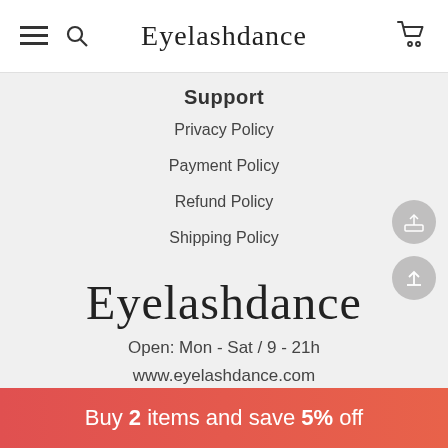Eyelashdance
Support
Privacy Policy
Payment Policy
Refund Policy
Shipping Policy
[Figure (logo): Eyelashdance brand logo in serif font]
Open: Mon - Sat / 9 - 21h
www.eyelashdance.com
Newsletter
Buy 2 items and save 5% off